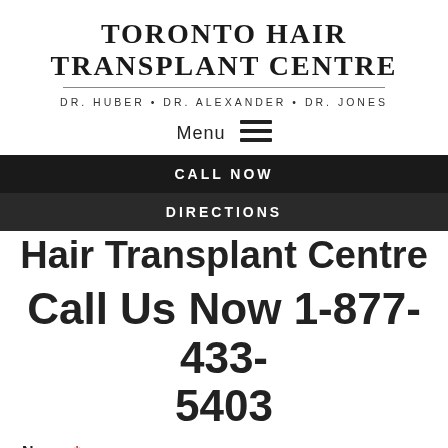TORONTO HAIR TRANSPLANT CENTRE
DR. HUBER • DR. ALEXANDER • DR. JONES
Menu ☰
CALL NOW
DIRECTIONS
Hair Transplant Centre
Call Us Now 1-877-433-5403
Name *
First Name